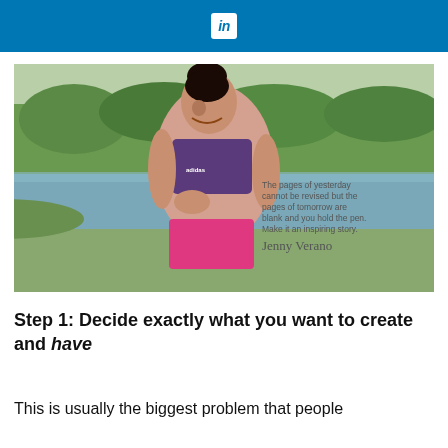in
[Figure (photo): A smiling woman in athletic wear (pink shorts, purple sports bra) jogging along a canal or river path with green trees and grass in the background. Quote overlay reads: 'The pages of yesterday cannot be revised but the pages of tomorrow are blank and you hold the pen. Make it an inspiring story. Jenny Verano']
Step 1: Decide exactly what you want to create and have
This is usually the biggest problem that people